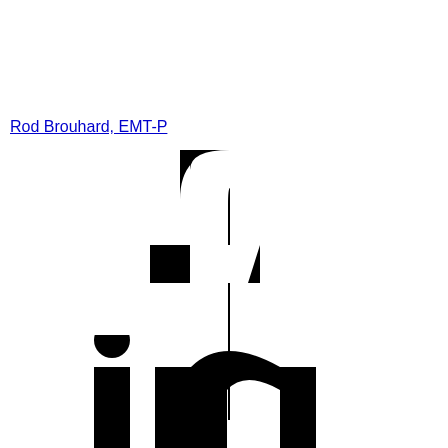Rod Brouhard, EMT-P
Facebook
[Figure (logo): Facebook 'f' logo icon in black, large scale, partially cropped]
[Figure (logo): LinkedIn 'in' logo icon in black, large scale, partially cropped at bottom]